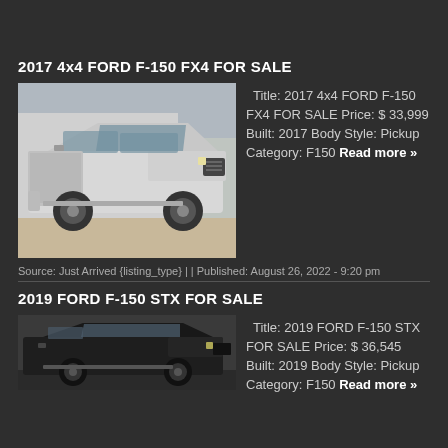2017 4x4 FORD F-150 FX4 FOR SALE
[Figure (photo): Silver 2017 Ford F-150 FX4 pickup truck photographed from front-left angle in a parking lot]
Title: 2017 4x4 FORD F-150 FX4 FOR SALE Price: $ 33,999 Built: 2017 Body Style: Pickup Category: F150 Read more »
Source: Just Arrived {listing_type} | | Published: August 26, 2022 - 9:20 pm
2019 FORD F-150 STX FOR SALE
[Figure (photo): Dark colored 2019 Ford F-150 STX pickup truck photographed from side angle]
Title: 2019 FORD F-150 STX FOR SALE Price: $ 36,545 Built: 2019 Body Style: Pickup Category: F150 Read more »